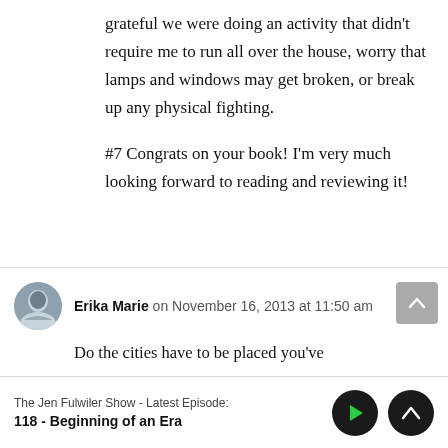grateful we were doing an activity that didn't require me to run all over the house, worry that lamps and windows may get broken, or break up any physical fighting.
#7 Congrats on your book! I'm very much looking forward to reading and reviewing it!
Erika Marie on November 16, 2013 at 11:50 am
Do the cities have to be placed you've
The Jen Fulwiler Show - Latest Episode: 118 - Beginning of an Era